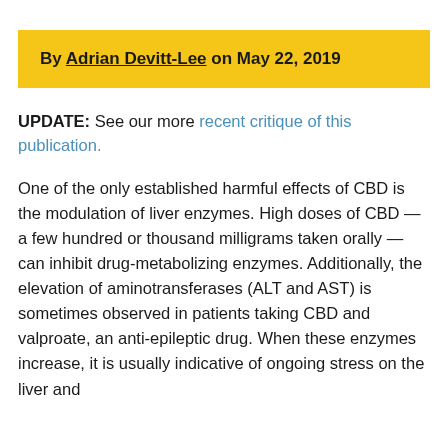By Adrian Devitt-Lee on May 22, 2019
UPDATE: See our more recent critique of this publication.
One of the only established harmful effects of CBD is the modulation of liver enzymes. High doses of CBD — a few hundred or thousand milligrams taken orally — can inhibit drug-metabolizing enzymes. Additionally, the elevation of aminotransferases (ALT and AST) is sometimes observed in patients taking CBD and valproate, an anti-epileptic drug. When these enzymes increase, it is usually indicative of ongoing stress on the liver and